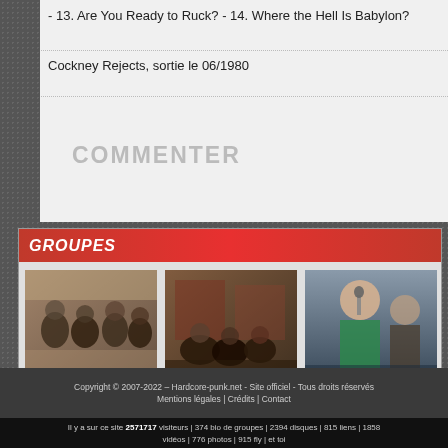- 13. Are You Ready to Ruck? - 14. Where the Hell Is Babylon?
Cockney Rejects, sortie le 06/1980
COMMENTER
GROUPES
[Figure (photo): Band photo 1 - group of people outdoors]
[Figure (photo): Band photo 2 - group indoors]
[Figure (photo): Band photo 3 - singer performing]
Copyright © 2007-2022 - Hardcore-punk.net - Site officiel - Tous droits réservés Mentions légales | Crédits | Contact
Il y a sur ce site 2571717 visiteurs | 374 bio de groupes | 2394 disques | 815 liens | 1858 vidéos | 776 photos | 915 fly | et toi